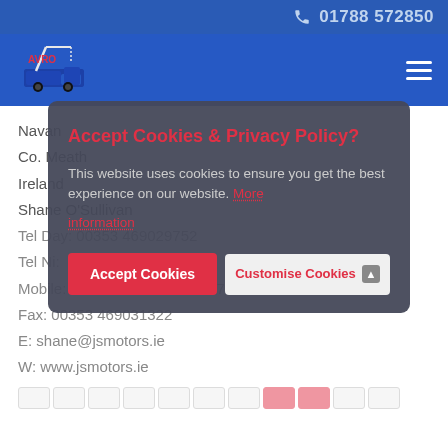01788 572850
[Figure (logo): AVRO towing company logo with crane truck icon on blue navigation bar]
Navan
Co. Meath
Ireland
Shane O'Sullivan
Tel Day: 00353 469029752
Tel Ni:
Mobile: 00353 86 2566284 / 87 2566284
Fax: 00353 469031322
E: shane@jsmotors.ie
W: www.jsmotors.ie
Accept Cookies & Privacy Policy?
This website uses cookies to ensure you get the best experience on our website. More information
Accept Cookies
Customise Cookies